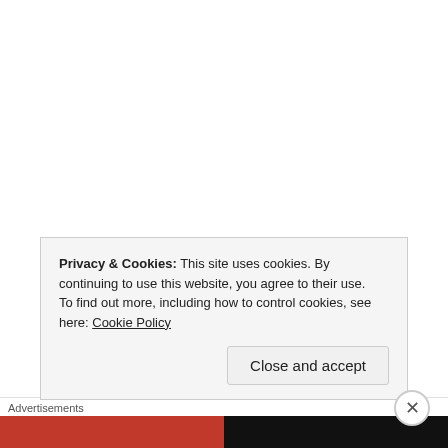If you are among the millions of American consumers who
Privacy & Cookies: This site uses cookies. By continuing to use this website, you agree to their use.
To find out more, including how to control cookies, see here: Cookie Policy
Close and accept
Advertisements